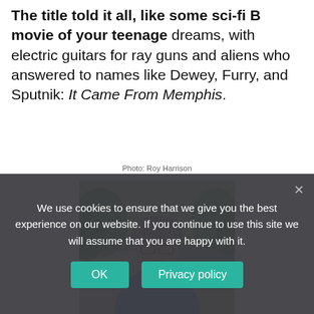The title told it all, like some sci-fi B movie of your teenage dreams, with electric guitars for ray guns and aliens who answered to names like Dewey, Furry, and Sputnik: It Came From Memphis.
[Figure (photo): Portrait photo of a middle-aged man with grey hair and glasses, wearing a light blue shirt, seated outdoors with greenery in the background.]
Photo: Roy Harrison
We use cookies to ensure that we give you the best experience on our website. If you continue to use this site we will assume that you are happy with it.